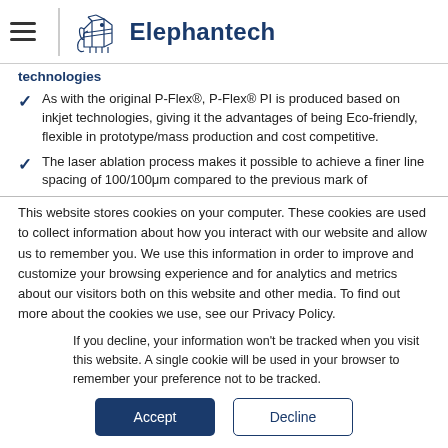Elephantech
technologies
As with the original P-Flex®, P-Flex® PI is produced based on inkjet technologies, giving it the advantages of being Eco-friendly, flexible in prototype/mass production and cost competitive.
The laser ablation process makes it possible to achieve a finer line spacing of 100/100μm compared to the previous mark of
This website stores cookies on your computer. These cookies are used to collect information about how you interact with our website and allow us to remember you. We use this information in order to improve and customize your browsing experience and for analytics and metrics about our visitors both on this website and other media. To find out more about the cookies we use, see our Privacy Policy.
If you decline, your information won't be tracked when you visit this website. A single cookie will be used in your browser to remember your preference not to be tracked.